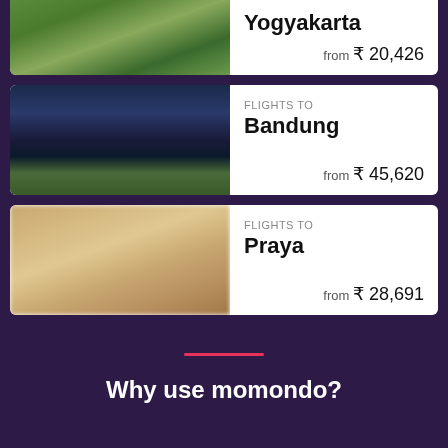[Figure (photo): Partial flight card for Yogyakarta showing a mountain landscape photo and price from ₹20,426]
Yogyakarta
from ₹ 20,426
[Figure (photo): Flight card for Bandung showing a city-at-night aerial photo]
FLIGHTS TO
Bandung
from ₹ 45,620
[Figure (photo): Flight card for Praya showing a blurred warm-toned interior photo]
FLIGHTS TO
Praya
from ₹ 28,691
Why use momondo?